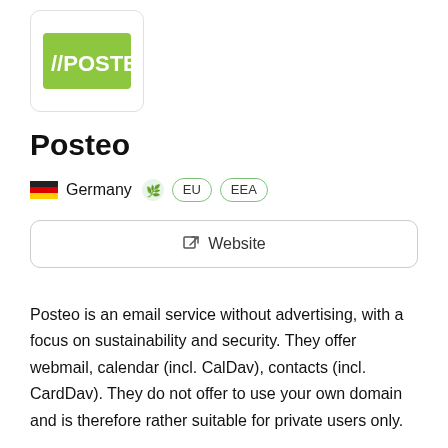[Figure (logo): Posteo logo: green background with white text //POSTEO in a rounded square box]
Posteo
Germany  🌿  EU  EEA
Website
Posteo is an email service without advertising, with a focus on sustainability and security. They offer webmail, calendar (incl. CalDav), contacts (incl. CardDav). They do not offer to use your own domain and is therefore rather suitable for private users only.